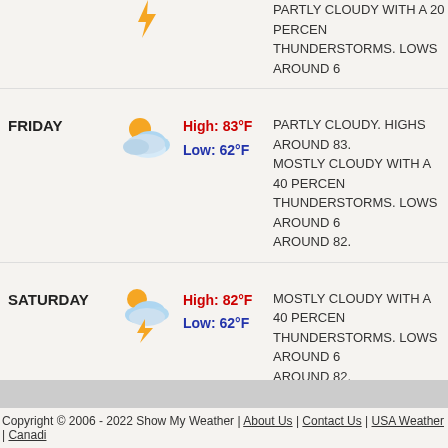PARTLY CLOUDY WITH A 20 PERCENT CHANCE OF THUNDERSTORMS. LOWS AROUND 6
FRIDAY | High: 83°F | Low: 62°F | PARTLY CLOUDY. HIGHS AROUND 83. MOSTLY CLOUDY WITH A 40 PERCENT CHANCE OF THUNDERSTORMS. LOWS AROUND 6 AROUND 82.
SATURDAY | High: 82°F | Low: 62°F | MOSTLY CLOUDY WITH A 40 PERCENT CHANCE OF THUNDERSTORMS. LOWS AROUND 6 AROUND 82.
SUNDAY | High: 80°F | Low: 60°F | PARTLY SUNNY WITH A 30 PERCENT CHANCE OF THUNDERSTORMS. HIGHS AROUND ... PARTLY CLOUDY WITH A 20 PERCENT CHANCE OF THUNDERSTORMS. LOWS AROUND 6
Copyright © 2006 - 2022 Show My Weather | About Us | Contact Us | USA Weather | Canadi